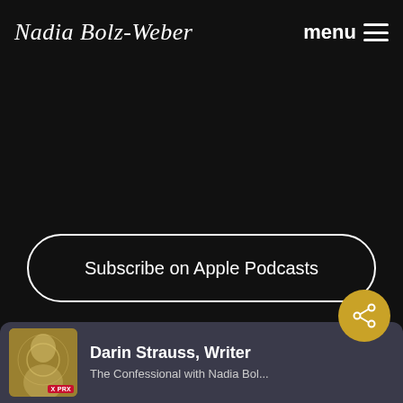Nadia Bolz-Weber
menu
Subscribe on Apple Podcasts
[Figure (other): Podcast card thumbnail showing a woman portrait with X PRX label, for The Confessional with Nadia Bol... by Darin Strauss, Writer]